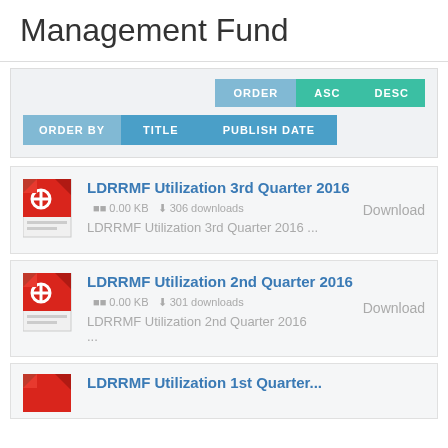Management Fund
ORDER  ASC  DESC  ORDER BY  TITLE  PUBLISH DATE
LDRRMF Utilization 3rd Quarter 2016   0.00 KB  306 downloads
LDRRMF Utilization 3rd Quarter 2016 ...
Download
LDRRMF Utilization 2nd Quarter 2016   0.00 KB  301 downloads
LDRRMF Utilization 2nd Quarter 2016
...
Download
LDRRMF Utilization 1st Quarter...